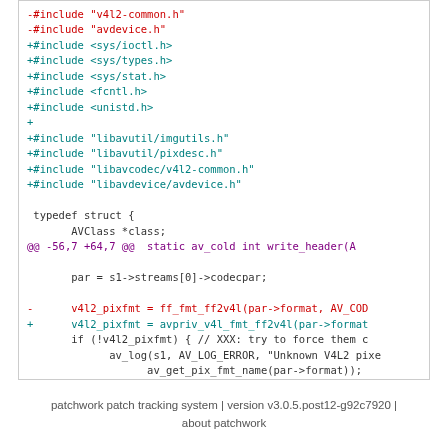[Figure (screenshot): Code diff screenshot showing removed includes (v4l2-common.h, avdevice.h) and added includes (sys/ioctl.h, sys/types.h, sys/stat.h, fcntl.h, unistd.h, libavutil/imgutils.h, libavutil/pixdesc.h, libavcodec/v4l2-common.h, libavdevice/avdevice.h), a typedef struct with AVClass *class, a hunk header @@ -56,7 +64,7 @@ static av_cold int write_header(A, and code for par = s1->streams[0]->codecpar, with removed and added v4l2_pixfmt lines and if block.]
patchwork patch tracking system | version v3.0.5.post12-g92c7920 | about patchwork